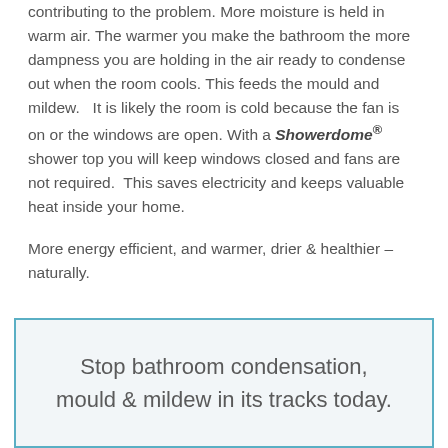contributing to the problem. More moisture is held in warm air. The warmer you make the bathroom the more dampness you are holding in the air ready to condense out when the room cools. This feeds the mould and mildew. It is likely the room is cold because the fan is on or the windows are open. With a Showerdome® shower top you will keep windows closed and fans are not required. This saves electricity and keeps valuable heat inside your home.
More energy efficient, and warmer, drier & healthier – naturally.
Stop bathroom condensation, mould & mildew in its tracks today.